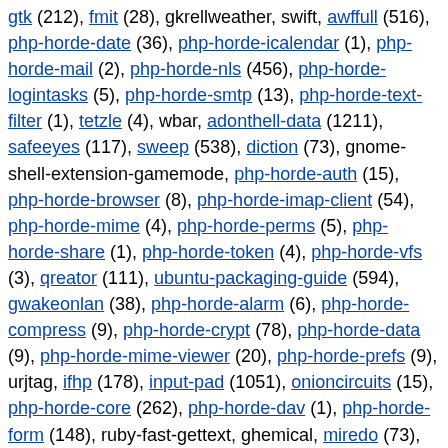gtk (212), fmit (28), gkrellweather, swift, awffull (516), php-horde-date (36), php-horde-icalendar (1), php-horde-mail (2), php-horde-nls (456), php-horde-logintasks (5), php-horde-smtp (13), php-horde-text-filter (1), tetzle (4), wbar, adonthell-data (1211), safeeyes (117), sweep (538), diction (73), gnome-shell-extension-gamemode, php-horde-auth (15), php-horde-browser (8), php-horde-imap-client (54), php-horde-mime (4), php-horde-perms (5), php-horde-share (1), php-horde-token (4), php-horde-vfs (3), qreator (111), ubuntu-packaging-guide (594), gwakeonlan (38), php-horde-alarm (6), php-horde-compress (9), php-horde-crypt (78), php-horde-data (9), php-horde-mime-viewer (20), php-horde-prefs (9), urjtag, ifhp (178), input-pad (1051), onioncircuits (15), php-horde-core (262), php-horde-dav (1), php-horde-form (148), ruby-fast-gettext, ghemical, miredo (73), osinfo-db-tools (43), revelation, 3depict (1464), evolution-rss, ibus-chewing, php-horde-imsp (1), php-horde-listheaders (7), pidgin-festival (21), php-horde-activesync (25), eiciel (56), nudoku (36), php-horde-kolab-storage (40), budgie-control-center, debmake-